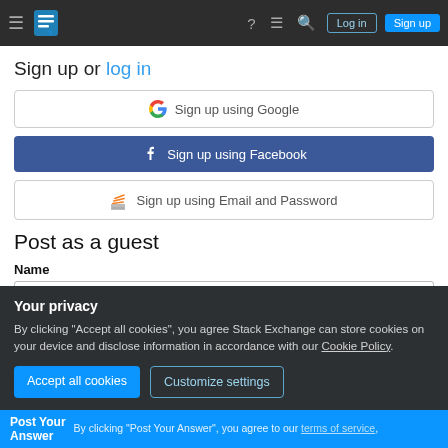Navigation bar with hamburger menu, Stack Exchange logo, Log in and Sign up buttons
Sign up or log in
Sign up using Google
Sign up using Facebook
Sign up using Email and Password
Post as a guest
Name
Your privacy
By clicking "Accept all cookies", you agree Stack Exchange can store cookies on your device and disclose information in accordance with our Cookie Policy.
Accept all cookies
Customize settings
Post Your Answer — By clicking "Post Your Answer", you agree to our terms of service,